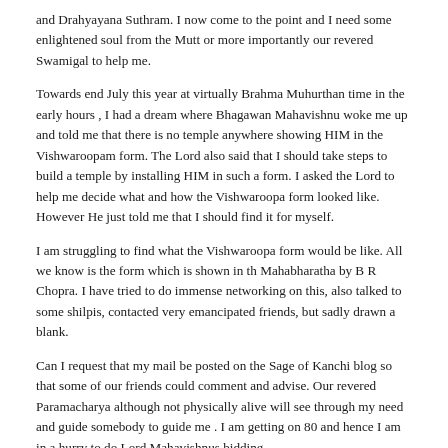and Drahyayana Suthram. I now come to the point and I need some enlightened soul from the Mutt or more importantly our revered Swamigal to help me.
Towards end July this year at virtually Brahma Muhurthan time in the early hours , I had a dream where Bhagawan Mahavishnu woke me up and told me that there is no temple anywhere showing HIM in the Vishwaroopam form. The Lord also said that I should take steps to build a temple by installing HIM in such a form. I asked the Lord to help me decide what and how the Vishwaroopa form looked like. However He just told me that I should find it for myself.
I am struggling to find what the Vishwaroopa form would be like. All we know is the form which is shown in th Mahabharatha by B R Chopra. I have tried to do immense networking on this, also talked to some shilpis, contacted very emancipated friends, but sadly drawn a blank.
Can I request that my mail be posted on the Sage of Kanchi blog so that some of our friends could comment and advise. Our revered Paramacharya although not physically alive will see through my need and guide somebody to guide me . I am getting on 80 and hence I am in a hurry to do Lord Mahavishnus bidding.